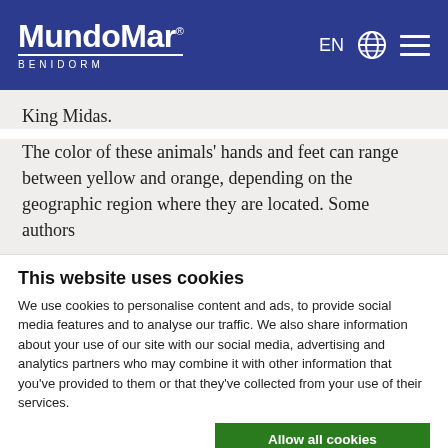MundoMar BENIDORM
King Midas.
The color of these animals' hands and feet can range between yellow and orange, depending on the geographic region where they are located. Some authors
This website uses cookies
We use cookies to personalise content and ads, to provide social media features and to analyse our traffic. We also share information about your use of our site with our social media, advertising and analytics partners who may combine it with other information that you've provided to them or that they've collected from your use of their services.
Allow all cookies
Allow selection
Use necessary cookies only
Necessary  Preferences  Statistics  Marketing  Show details